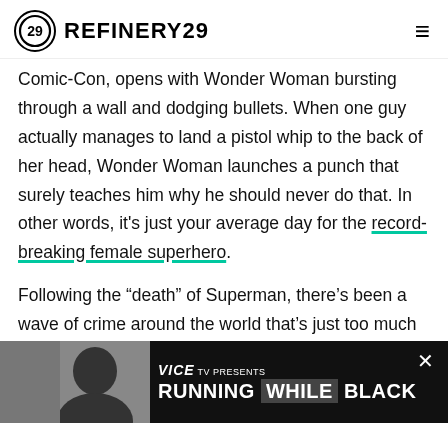REFINERY29
Comic-Con, opens with Wonder Woman bursting through a wall and dodging bullets. When one guy actually manages to land a pistol whip to the back of her head, Wonder Woman launches a punch that surely teaches him why he should never do that. In other words, it's just your average day for the record-breaking female superhero.
Following the "death" of Superman, there's been a wave of crime around the world that's just too much for one superhero to handle. It's why Batman (Ben Affleck) is assembling a team that can help him to defeat the world. He's got Aquaman (Jason Mamoa), The Flash (Ezra Miller), Cyborg (Ray Fisher), Wonder Woman who gets to be the real le…
[Figure (screenshot): VICE TV advertisement banner: 'VICE TV PRESENTS / RUNNING WHILE BLACK' with photo of man on right side and close button]